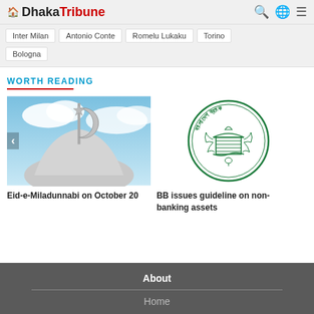Dhaka Tribune
Inter Milan
Antonio Conte
Romelu Lukaku
Torino
Bologna
WORTH READING
[Figure (photo): Mosque dome with crescent and star finial against a cloudy sky]
Eid-e-Miladunnabi on October 20
[Figure (logo): Bangladesh Bank circular logo in green with Bengali text and building illustration]
BB issues guideline on non-banking assets
About
Home